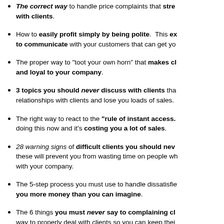The correct way to handle price complaints that strengthen your relationships with clients.
How to easily profit simply by being polite. This exact way to communicate with your customers that can get yo...
The proper way to "toot your own horn" that makes clients more committed and loyal to your company.
3 topics you should never discuss with clients that can damage your relationships with clients and lose you loads of sales.
The right way to react to the "rule of instant access." Many contractors are doing this now and it's costing you a lot of sales.
28 warning signs of difficult clients you should never work with — these will prevent you from wasting time on people who will never be happy with your company.
The 5-step process you must use to handle dissatisfied clients that can make you more money than you can imagine.
The 6 things you must never say to complaining clients and the right way to properly deal with clients so you can keep their...